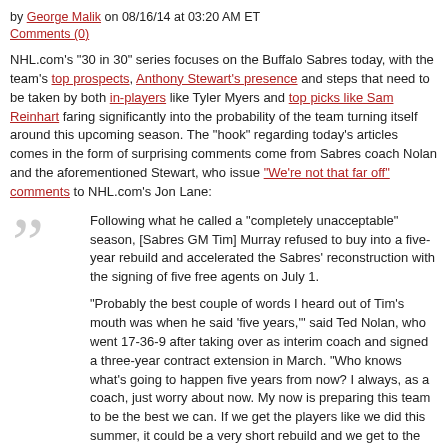by George Malik on 08/16/14 at 03:20 AM ET
Comments (0)
NHL.com's "30 in 30" series focuses on the Buffalo Sabres today, with the team's top prospects, Anthony Stewart's presence and steps that need to be taken by both in- players like Tyler Myers and top picks like Sam Reinhart faring significantly into the probability of the team turning itself around this upcoming season. The "hook" regarding today's articles comes in the form of surprising comments come from Sabres coach Nolan and the aforementioned Stewart, who issue "We're not that far off" comments to NHL.com's Jon Lane:
Following what he called a "completely unacceptable" season, [Sabres GM Tim] Murray refused to buy into a five-year rebuild and accelerated the Sabres' reconstruction with the signing of five free agents on July 1.
"Probably the best couple of words I heard out of Tim's mouth was when he said 'five years,'" said Ted Nolan, who went 17-36-9 after taking over as interim coach and signed a three-year contract extension in March. "Who knows what's going to happen five years from now? I always, as a coach, just worry about now. My now is preparing this team to be the best we can. If we get the players like we did this summer, it could be a very short rebuild and we get to the point to where we're battling for what everybody wants, and that's the Stanley Cup."
Continue Reading »